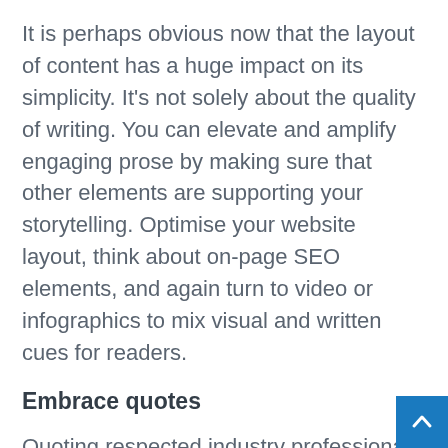It is perhaps obvious now that the layout of content has a huge impact on its simplicity. It’s not solely about the quality of writing. You can elevate and amplify engaging prose by making sure that other elements are supporting your storytelling. Optimise your website layout, think about on-page SEO elements, and again turn to video or infographics to mix visual and written cues for readers.
Embrace quotes
Quoting respected industry professionals and third parties is another great way to serve up quick and simple insights. They also enhance the legitimacy of the points you are trying to make and strengt...